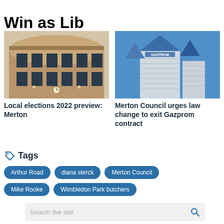Win as Lib Dems claim major scalp
[Figure (photo): Exterior of a classic brick council/civic building with arched windows and a clock]
[Figure (photo): Modern Gazprom office tower with blue glass pyramidal roofs against a blue sky]
Local elections 2022 preview: Merton
Merton Council urges law change to exit Gazprom contract
Tags
Arthur Road
diana sterck
Merton Council
Mike Rooke
Wimbledon Park butchers
Search the site